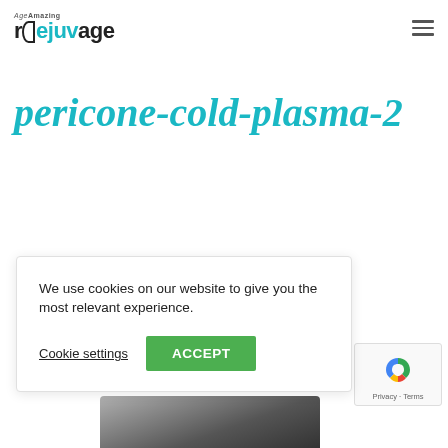AgeAmazing rejuvage
pericone-cold-plasma-2
We use cookies on our website to give you the most relevant experience.
Cookie settings  ACCEPT